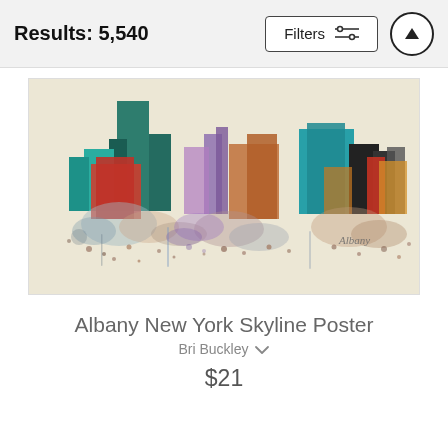Results: 5,540
[Figure (illustration): Watercolor-style poster illustration of the Albany New York city skyline, featuring colorful abstract splashes of teal, red, orange, purple, green, and brown against a cream/beige background. Buildings silhouetted with the word 'Albany' written in script at the lower right.]
Albany New York Skyline Poster
Bri Buckley
$21